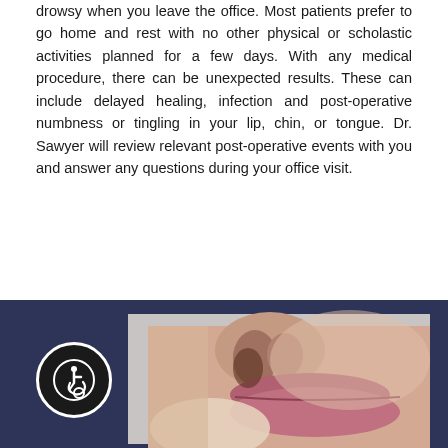drowsy when you leave the office. Most patients prefer to go home and rest with no other physical or scholastic activities planned for a few days. With any medical procedure, there can be unexpected results. These can include delayed healing, infection and post-operative numbness or tingling in your lip, chin, or tongue. Dr. Sawyer will review relevant post-operative events with you and answer any questions during your office visit.
[Figure (photo): Close-up photograph of a person's lower face showing lips and nose, with the lower-left portion of the chin area appearing lighter/whiter, possibly demonstrating numbness or a dental/surgical condition area. Dark navy blue background frame around the photo.]